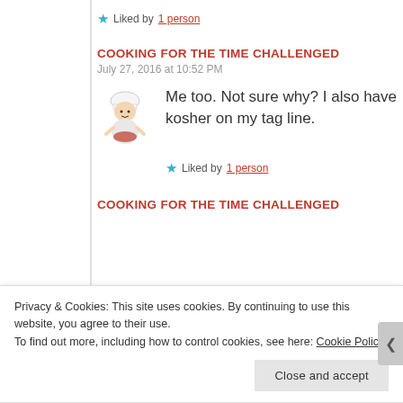★ Liked by 1 person
COOKING FOR THE TIME CHALLENGED
July 27, 2016 at 10:52 PM
Me too. Not sure why? I also have kosher on my tag line.
★ Liked by 1 person
COOKING FOR THE TIME CHALLENGED
Privacy & Cookies: This site uses cookies. By continuing to use this website, you agree to their use.
To find out more, including how to control cookies, see here: Cookie Policy
Close and accept